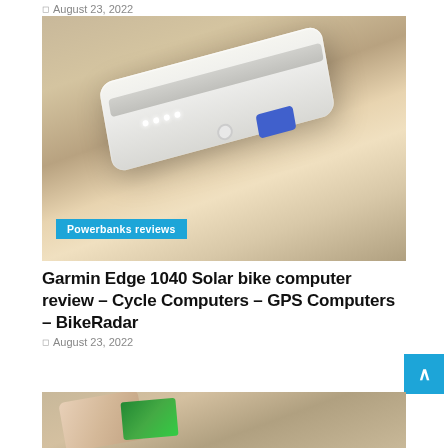August 23, 2022
[Figure (photo): White portable power bank on a wooden surface with LED indicators and USB port visible, with a blue 'Powerbanks reviews' category tag overlay]
Powerbanks reviews
Garmin Edge 1040 Solar bike computer review – Cycle Computers – GPS Computers – BikeRadar
August 23, 2022
[Figure (photo): Hands holding a smartwatch device on a wooden surface, partially visible at bottom of page]